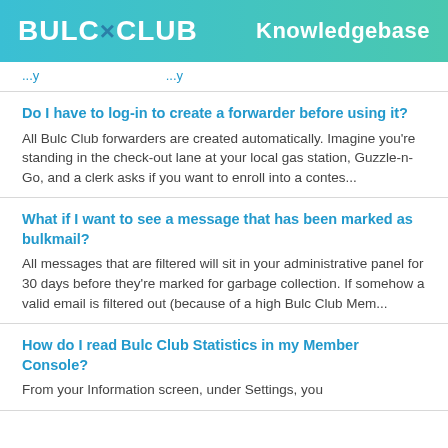BULC×CLUB Knowledgebase
...y ...y
Do I have to log-in to create a forwarder before using it?
All Bulc Club forwarders are created automatically. Imagine you're standing in the check-out lane at your local gas station, Guzzle-n-Go, and a clerk asks if you want to enroll into a contes...
What if I want to see a message that has been marked as bulkmail?
All messages that are filtered will sit in your administrative panel for 30 days before they're marked for garbage collection. If somehow a valid email is filtered out (because of a high Bulc Club Mem...
How do I read Bulc Club Statistics in my Member Console?
From your Information screen, under Settings, you